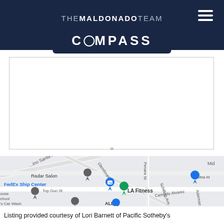THE MALDONADO TEAM
[Figure (logo): COMPASS logo in dark navy rounded rectangle]
[Figure (map): Google Maps screenshot showing area near Radar Salon, FedEx Ship Center, LA Fitness, Balloons To Your Door, ALDI, and other local businesses. Streets include Camino Santa Fe, Glendover Ln, Penara St, Schilling Ave, Aderman Ave, Top Gun St, Caminito Alvarez.]
Listing provided courtesy of Lori Barnett of Pacific Sotheby's